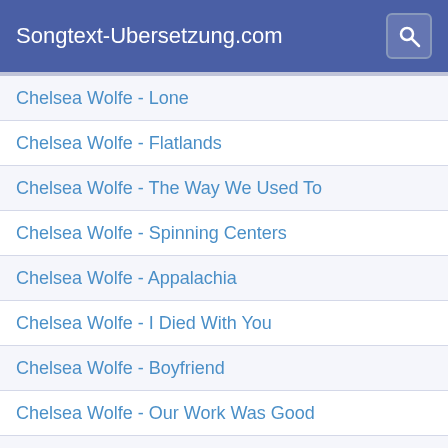Songtext-Ubersetzung.com
Chelsea Wolfe - Lone
Chelsea Wolfe - Flatlands
Chelsea Wolfe - The Way We Used To
Chelsea Wolfe - Spinning Centers
Chelsea Wolfe - Appalachia
Chelsea Wolfe - I Died With You
Chelsea Wolfe - Boyfriend
Chelsea Wolfe - Our Work Was Good
Chelsea Wolfe - Hyper Oz
Chelsea Wolfe - Sunstorm
Chelsea Wolfe - Carrion Flowers